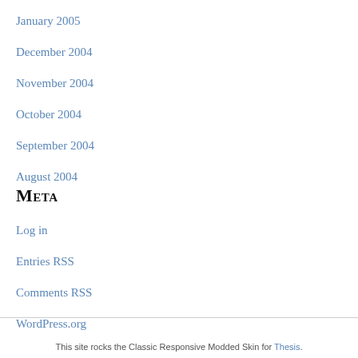January 2005
December 2004
November 2004
October 2004
September 2004
August 2004
Meta
Log in
Entries RSS
Comments RSS
WordPress.org
This site rocks the Classic Responsive Modded Skin for Thesis.